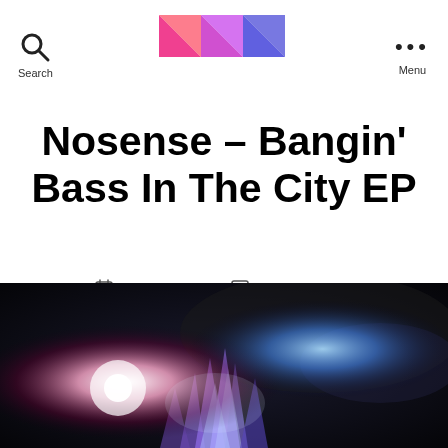Search | [Logo] | Menu
Nosense – Bangin' Bass In The City EP
3 May, 2013   No Comments
[Figure (photo): Dark atmospheric digital artwork showing a glowing city/crystal structure with blue and white light effects against a dark cloudy background]